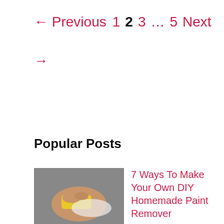← Previous  1  2  3  …  5  Next →
Popular Posts
[Figure (photo): Hand holding a yellow sponge rubbing white paint off a surface]
7 Ways To Make Your Own DIY Homemade Paint Remover
[Figure (photo): Close-up of a wooden door frame with rot or damage]
What are the Best Wood Fillers for Large Holes?
[Figure (photo): Partially visible thumbnail for nail hole fillers article]
The 7 Best Nail Hole Fillers for MDF and Wood Trim